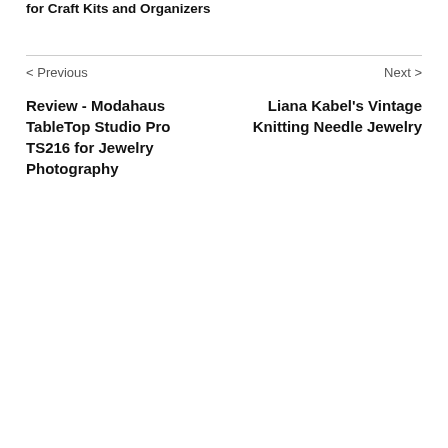for Craft Kits and Organizers
< Previous
Next >
Review - Modahaus TableTop Studio Pro TS216 for Jewelry Photography
Liana Kabel's Vintage Knitting Needle Jewelry